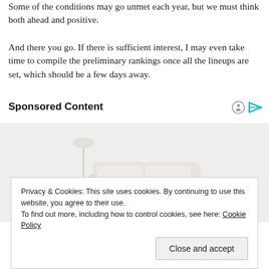Some of the conditions may go unmet each year, but we must think both ahead and positive.
And there you go. If there is sufficient interest, I may even take time to compile the preliminary rankings once all the lineups are set, which should be a few days away.
Sponsored Content
[Figure (photo): Sponsored content advertisement image showing furniture/living room items including a sofa and decorative objects]
Privacy & Cookies: This site uses cookies. By continuing to use this website, you agree to their use.
To find out more, including how to control cookies, see here: Cookie Policy
Close and accept